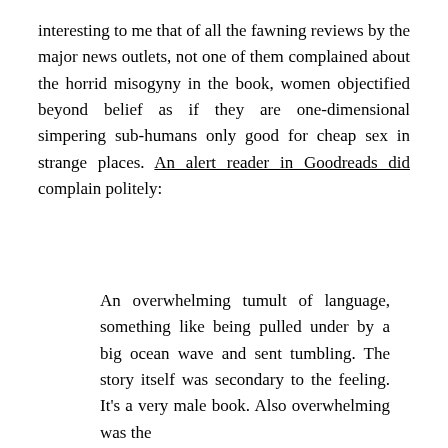interesting to me that of all the fawning reviews by the major news outlets, not one of them complained about the horrid misogyny in the book, women objectified beyond belief as if they are one-dimensional simpering sub-humans only good for cheap sex in strange places. An alert reader in Goodreads did complain politely:
An overwhelming tumult of language, something like being pulled under by a big ocean wave and sent tumbling. The story itself was secondary to the feeling. It’s a very male book. Also overwhelming was the